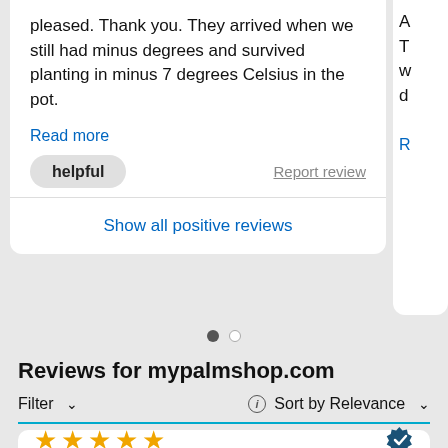pleased. Thank you. They arrived when we still had minus degrees and survived planting in minus 7 degrees Celsius in the pot.
Read more
helpful
Report review
Show all positive reviews
Reviews for mypalmshop.com
Filter ∨
ⓘ Sort by Relevance ∨
[Figure (other): Five yellow star rating icons]